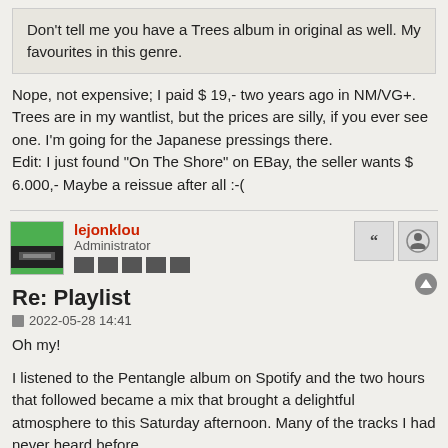Don't tell me you have a Trees album in original as well. My favourites in this genre.
Nope, not expensive; I paid $ 19,- two years ago in NM/VG+.
Trees are in my wantlist, but the prices are silly, if you ever see one. I'm going for the Japanese pressings there.
Edit: I just found "On The Shore" on EBay, the seller wants $ 6.000,- Maybe a reissue after all :-(
lejonklou
Administrator
Re: Playlist
2022-05-28 14:41
Oh my!
I listened to the Pentangle album on Spotify and the two hours that followed became a mix that brought a delightful atmosphere to this Saturday afternoon. Many of the tracks I had never heard before.